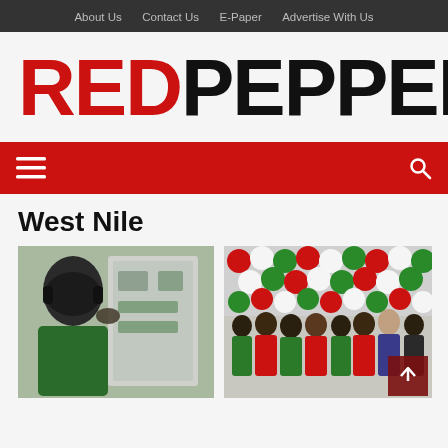About Us   Contact Us   E-Paper   Advertise With Us
[Figure (logo): Red Pepper newspaper logo — RED in red, PEPPER in black, bold large text]
[Figure (other): Red navigation bar with hamburger menu icon on left and search icon on right]
West Nile
[Figure (photo): Person wearing headphones looking at control panel equipment]
[Figure (photo): Group of people in red and green shirts posing in front of red, white and green balloons]